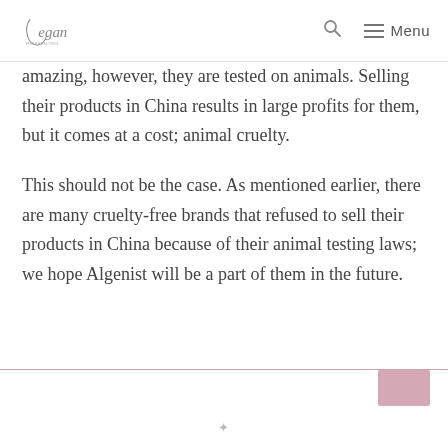Vegan [logo] | Search | Menu
amazing, however, they are tested on animals. Selling their products in China results in large profits for them, but it comes at a cost; animal cruelty.
This should not be the case. As mentioned earlier, there are many cruelty-free brands that refused to sell their products in China because of their animal testing laws; we hope Algenist will be a part of them in the future.